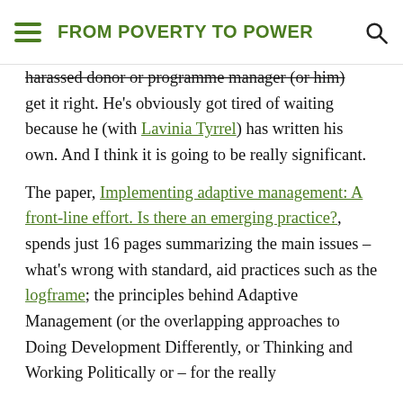FROM POVERTY TO POWER
harassed donor or programme manager (or him) get it right. He's obviously got tired of waiting because he (with Lavinia Tyrrel) has written his own. And I think it is going to be really significant.

The paper, Implementing adaptive management: A front-line effort. Is there an emerging practice?, spends just 16 pages summarizing the main issues – what's wrong with standard, aid practices such as the logframe; the principles behind Adaptive Management (or the overlapping approaches to Doing Development Differently, or Thinking and Working Politically or – for the really